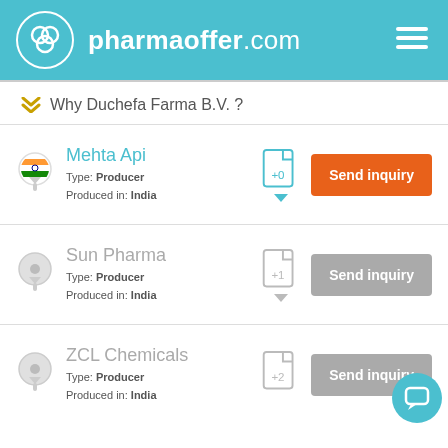pharmaoffer.com
Why Duchefa Farma B.V. ?
Mehta Api
Type: Producer
Produced in: India
Send inquiry
Sun Pharma
Type: Producer
Produced in: India
Send inquiry
ZCL Chemicals
Type: Producer
Produced in: India
Send inquiry